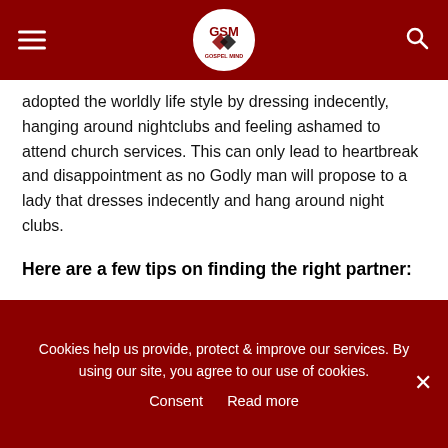Gospel Mind - header navigation with logo, hamburger menu, and search icon
adopted the worldly life style by dressing indecently, hanging around nightclubs and feeling ashamed to attend church services. This can only lead to heartbreak and disappointment as no Godly man will propose to a lady that dresses indecently and hang around night clubs.
Here are a few tips on finding the right partner:
Marry someone you can pray with. Couples that pray together stay together and that's a proven fact. The marriages that fail always have one partner that avoids having daily devotionals together. Prayer really builds deep intimacy into a marriage.
Cookies help us provide, protect & improve our services. By using our site, you agree to our use of cookies.
Consent  Read more